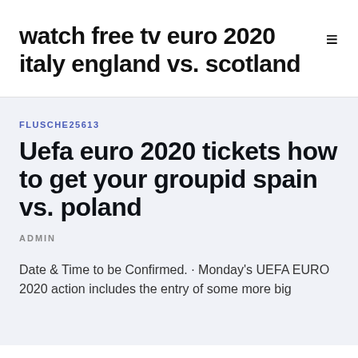watch free tv euro 2020 italy england vs. scotland
FLUSCHE25613
Uefa euro 2020 tickets how to get your groupid spain vs. poland
ADMIN
Date & Time to be Confirmed. · Monday's UEFA EURO 2020 action includes the entry of some more big